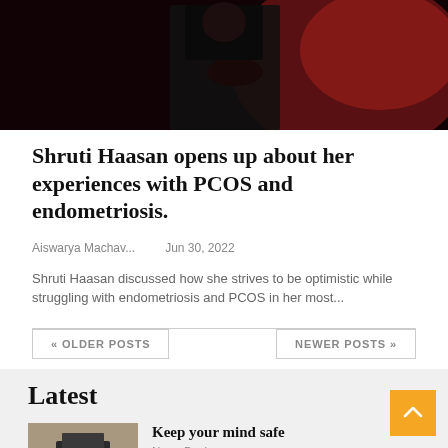[Figure (photo): Dark stage photo of a woman in black outfit with red background lighting]
Shruti Haasan opens up about her experiences with PCOS and endometriosis.
Aiswarya Machav...    Jun 30, 2022
Shruti Haasan discussed how she strives to be optimistic while struggling with endometriosis and PCOS in her most...
« OLDER POSTS    NEWER POSTS »
Latest
[Figure (photo): Person holding a book or folder over their face indoors]
Keep your mind safe
News Desk
[Figure (photo): Stadium or sports ground with mountains in background]
5 tips to keep in mind when you bet on IPL 2022